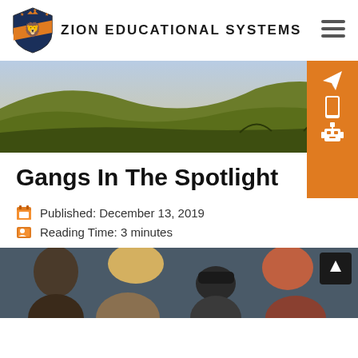ZION EDUCATIONAL SYSTEMS
[Figure (photo): Panoramic landscape photo of rolling hills and grasslands under a partly cloudy sky]
Gangs In The Spotlight
Published: December 13, 2019
Reading Time: 3 minutes
[Figure (photo): Group of young people from behind, standing close together outdoors near a wall]